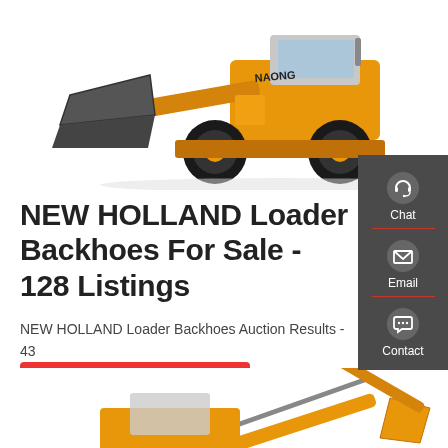[Figure (photo): Yellow front loader / wheel loader machine (NAONG brand) with large bucket, photographed on white background]
NEW HOLLAND Loader Backhoes For Sale - 128 Listings
NEW HOLLAND Loader Backhoes Auction Results - 43 Listings
[Figure (infographic): Dark grey sidebar with three icons and labels: Chat (headset icon), Email (envelope icon), Contact (speech bubble icon), separated by red dividers]
[Figure (photo): Partial view of a yellow backhoe/excavator machine at bottom of page]
Get a quote